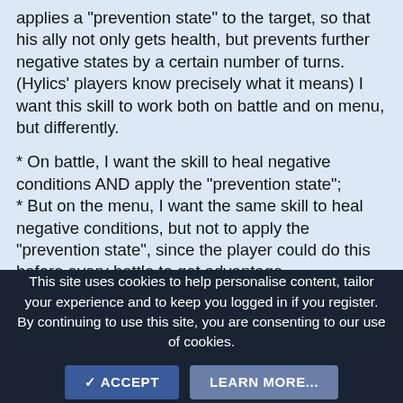applies a "prevention state" to the target, so that his ally not only gets health, but prevents further negative states by a certain number of turns. (Hylics' players know precisely what it means) I want this skill to work both on battle and on menu, but differently.
* On battle, I want the skill to heal negative conditions AND apply the "prevention state";
* But on the menu, I want the same skill to heal negative conditions, but not to apply the "prevention state", since the player could do this before every battle to get advantage.
The lazy way to get around with this issue is to create two skills: one usable on battles and one usable on menus. But I particularly think this would pollute the skill repertoire.
This site uses cookies to help personalise content, tailor your experience and to keep you logged in if you register.
By continuing to use this site, you are consenting to our use of cookies.